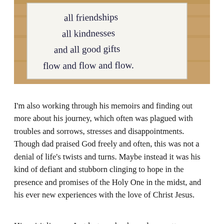[Figure (photo): A photograph of a handwritten note on white paper, placed on a wooden surface. The handwriting in cursive reads: 'all friendships / all kindnesses / and all good gifts / flow and flow and flow.']
I'm also working through his memoirs and finding out more about his journey, which often was plagued with troubles and sorrows, stresses and disappointments. Though dad praised God freely and often, this was not a denial of life's twists and turns. Maybe instead it was his kind of defiant and stubborn clinging to hope in the presence and promises of the Holy One in the midst, and his ever new experiences with the love of Christ Jesus.
His spirit lingers. Just last week when a long putt